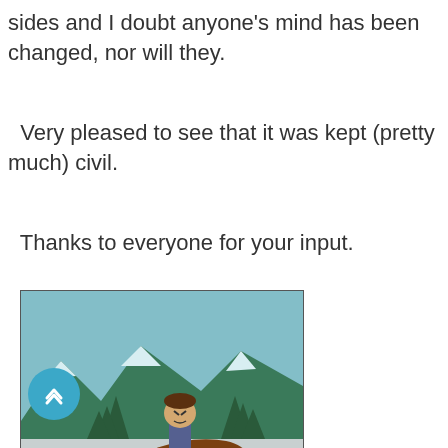sides and I doubt anyone's mind has been changed, nor will they.
Very pleased to see that it was kept (pretty much) civil.
Thanks to everyone for your input.
[Figure (illustration): South Park cartoon image showing a person riding or standing over a brown horse/dead horse in a snowy mountain landscape with trees and a teal sky. South Park watermark visible in bottom right.]